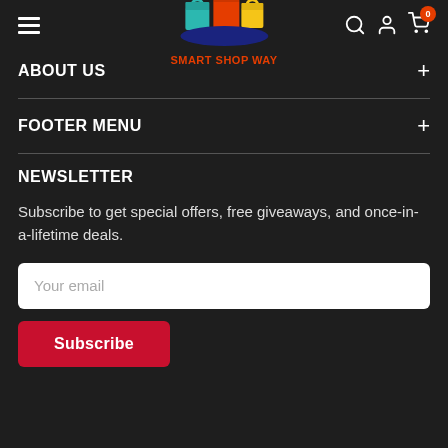Smart Shop Way - navigation header with logo, hamburger menu, search, account, and cart icons
ABOUT US
FOOTER MENU
NEWSLETTER
Subscribe to get special offers, free giveaways, and once-in-a-lifetime deals.
Your email
Subscribe